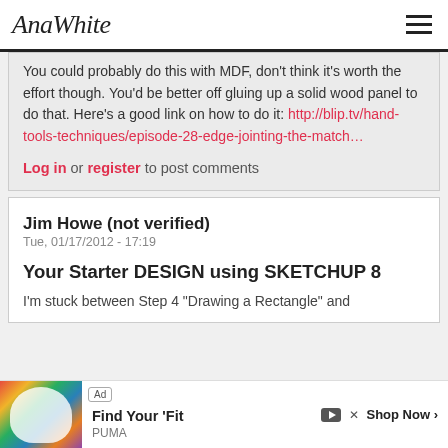AnaWhite
You could probably do this with MDF, don't think it's worth the effort though. You'd be better off gluing up a solid wood panel to do that. Here's a good link on how to do it: http://blip.tv/hand-tools-techniques/episode-28-edge-jointing-the-match...
Log in or register to post comments
Jim Howe (not verified)
Tue, 01/17/2012 - 17:19
Your Starter DESIGN using SKETCHUP 8
I'm stuck between Step 4 "Drawing a Rectangle" and Ste... at Fra...
[Figure (other): Advertisement banner: Ad badge, colorful shoe image, 'Find Your Fit' PUMA advertisement with 'Shop Now' button]